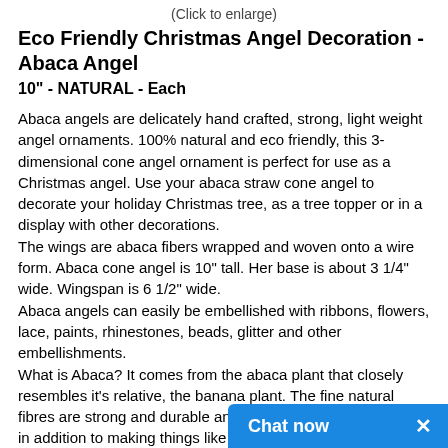(Click to enlarge)
Eco Friendly Christmas Angel Decoration - Abaca Angel
10" -  NATURAL - Each
Abaca angels are delicately hand crafted, strong, light weight angel ornaments. 100% natural and eco friendly, this 3-dimensional cone angel ornament is perfect for use as a Christmas angel. Use your abaca straw cone angel to decorate your holiday Christmas tree, as a tree topper or in a display with other decorations.
The wings are abaca fibers wrapped and woven onto a wire form. Abaca cone angel is 10" tall. Her base is about 3 1/4" wide. Wingspan is 6 1/2" wide.
Abaca angels can easily be embellished with ribbons, flowers, lace, paints, rhinestones, beads, glitter and other embellishments.
What is Abaca? It comes from the abaca plant that closely resembles it's relative, the banana plant. The fine natural fibres are strong and durable and used in a number of crafts in addition to making things like rope, hats, bags, furn... vacuum bags, nets and other products. Fa...